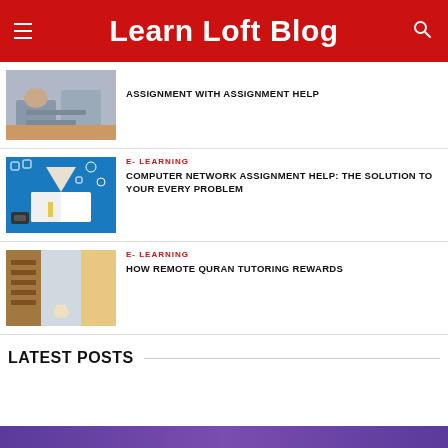Learn Loft Blog
ASSIGNMENT WITH ASSIGNMENT HELP
E- LEARNING
COMPUTER NETWORK ASSIGNMENT HELP: THE SOLUTION TO YOUR EVERY PROBLEM
E- LEARNING
HOW REMOTE QURAN TUTORING REWARDS
LATEST POSTS